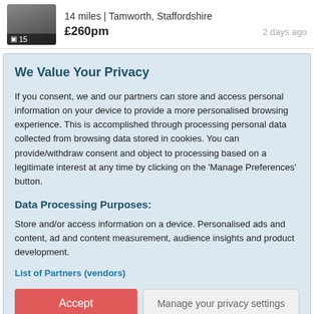[Figure (photo): Thumbnail image of a room/property with a camera icon and count overlay showing 15 photos]
14 miles | Tamworth, Staffordshire
£260pm  2 days ago
We Value Your Privacy
If you consent, we and our partners can store and access personal information on your device to provide a more personalised browsing experience. This is accomplished through processing personal data collected from browsing data stored in cookies. You can provide/withdraw consent and object to processing based on a legitimate interest at any time by clicking on the 'Manage Preferences' button.
Data Processing Purposes:
Store and/or access information on a device. Personalised ads and content, ad and content measurement, audience insights and product development.
List of Partners (vendors)
Accept
Manage your privacy settings